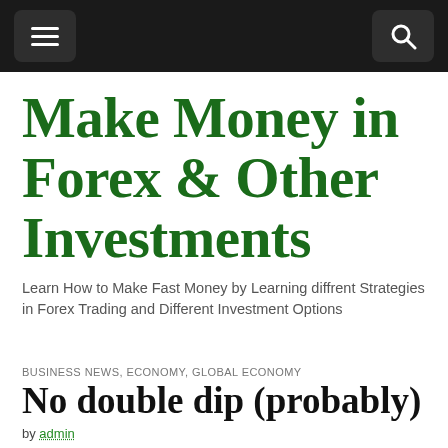[navigation bar with menu and search icons]
Make Money in Forex & Other Investments
Learn How to Make Fast Money by Learning diffrent Strategies in Forex Trading and Different Investment Options
BUSINESS NEWS, ECONOMY, GLOBAL ECONOMY
No double dip (probably)
by admin